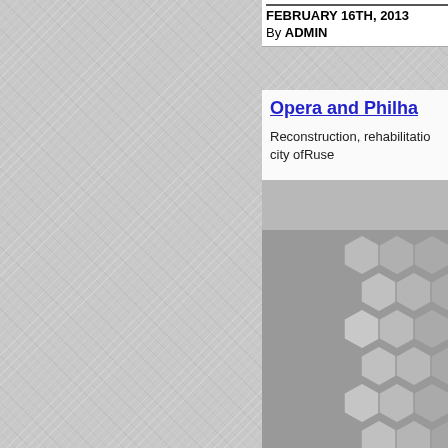FEBRUARY 16TH, 2013
By ADMIN
Opera and Philha
Reconstruction, rehabilitation of the city ofRuse
[Figure (illustration): Hexagonal pattern background in grey tones, decorative geometric design]